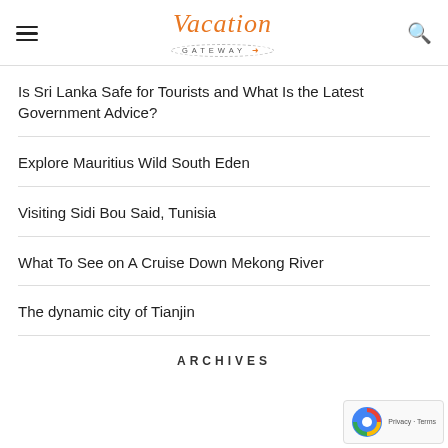Vacation Gateway
Is Sri Lanka Safe for Tourists and What Is the Latest Government Advice?
Explore Mauritius Wild South Eden
Visiting Sidi Bou Said, Tunisia
What To See on A Cruise Down Mekong River
The dynamic city of Tianjin
ARCHIVES